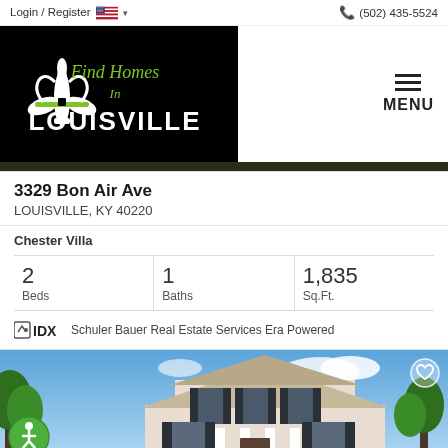Login / Register | (502) 435-5524
[Figure (logo): Find Homes In Louisville logo on black background with fleur-de-lis]
3329 Bon Air Ave
LOUISVILLE, KY 40220
Chester Villa
| Beds | Baths | Sq.Ft. |
| --- | --- | --- |
| 2 | 1 | 1,835 |
Schuler Bauer Real Estate Services Era Powered
[Figure (photo): Exterior photo of a two-story house with blue sky background, trees, heart/favorite icon top right, accessibility icon bottom left]